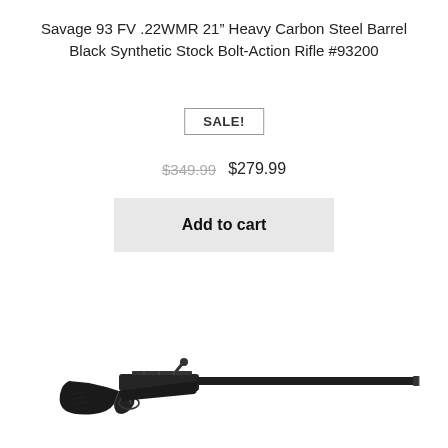Savage 93 FV .22WMR 21" Heavy Carbon Steel Barrel Black Synthetic Stock Bolt-Action Rifle #93200
SALE!
$349.99  $279.99
Add to cart
[Figure (photo): Savage 93 FV bolt-action rifle with black synthetic stock and long carbon steel barrel, shown in profile view against white background]